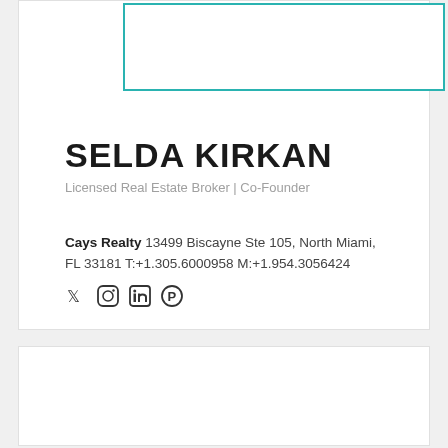[Figure (illustration): Teal/cyan outlined rectangle box in upper right area of white card, decorative element]
SELDA KIRKAN
Licensed Real Estate Broker | Co-Founder
Cays Realty 13499 Biscayne Ste 105, North Miami, FL 33181 T:+1.305.6000958 M:+1.954.3056424
[Figure (illustration): Social media icons: Twitter, Instagram, LinkedIn, Pinterest]
Featured Property